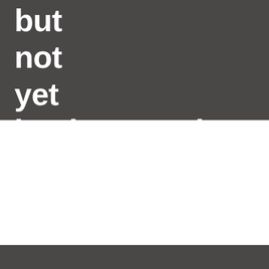but not yet implemented.
[Figure (other): Horizontal line with a small circle at its right end, decorative divider element on white background]